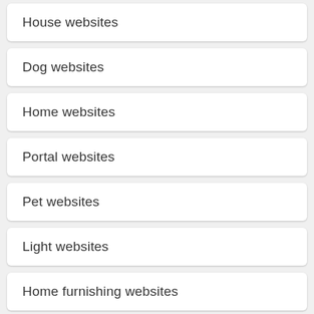House websites
Dog websites
Home websites
Portal websites
Pet websites
Light websites
Home furnishing websites